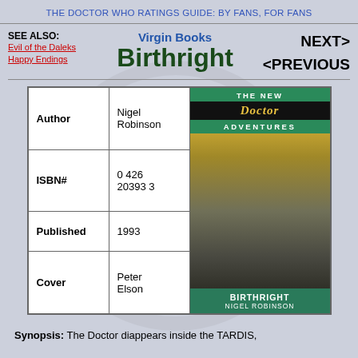THE DOCTOR WHO RATINGS GUIDE: BY FANS, FOR FANS
SEE ALSO:
Evil of the Daleks
Happy Endings
Virgin Books Birthright
NEXT> <PREVIOUS
| Field | Value | Cover Image |
| --- | --- | --- |
| Author | Nigel Robinson |  |
| ISBN# | 0 426 20393 3 |  |
| Published | 1993 |  |
| Cover | Peter Elson |  |
Synopsis: The Doctor diappears inside the TARDIS,